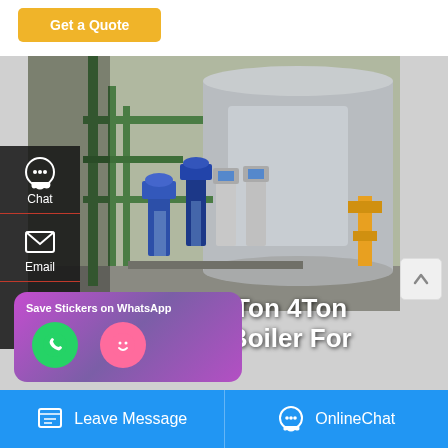Get a Quote
[Figure (photo): Industrial biomass steam boiler with multiple pumps and green piping in a facility]
Chat
Email
Contact
Industrial 1Ton 2Ton 4Ton Biomass Steam Boiler For
Save Stickers on WhatsApp
Leave Message
OnlineChat